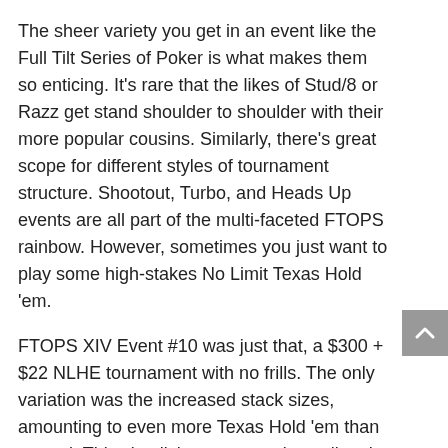The sheer variety you get in an event like the Full Tilt Series of Poker is what makes them so enticing. It's rare that the likes of Stud/8 or Razz get stand shoulder to shoulder with their more popular cousins. Similarly, there's great scope for different styles of tournament structure. Shootout, Turbo, and Heads Up events are all part of the multi-faceted FTOPS rainbow. However, sometimes you just want to play some high-stakes No Limit Texas Hold 'em.
FTOPS XIV Event #10 was just that, a $300 + $22 NLHE tournament with no frills. The only variation was the increased stack sizes, amounting to even more Texas Hold 'em than normal. This simplicity was a carrion call to the online poker illuminati, tempting in 5,174 of the game's top online players. This is the highest count so far this series, topping even the traditionally popular Event #1.